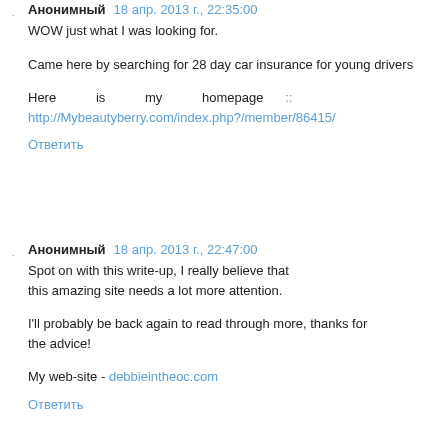Анонимный  18 апр. 2013 г., 22:35:00
WOW just what I was looking for.
Came here by searching for 28 day car insurance for young drivers
Here is my homepage :: http://Mybeautyberry.com/index.php?/member/86415/
Ответить
Анонимный  18 апр. 2013 г., 22:47:00
Spot on with this write-up, I really believe that this amazing site needs a lot more attention.
I'll probably be back again to read through more, thanks for the advice!
My web-site - debbieintheoc.com
Ответить